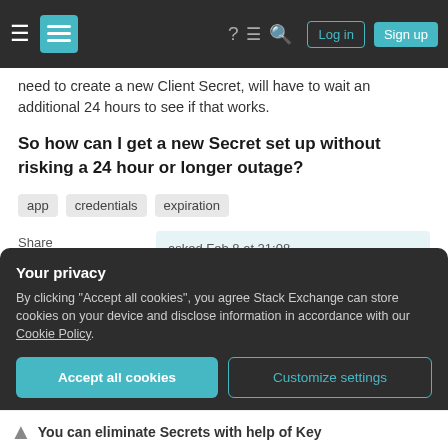Stack Exchange navigation bar with logo, help, chat, search, Log in, Sign up
need to create a new Client Secret, will have to wait an additional 24 hours to see if that works.
So how can I get a new Secret set up without risking a 24 hour or longer outage?
app
credentials
expiration
Share
Improve this question
Follow
asked Feb 8 at 21:08
J Waltz
1
Your privacy
By clicking "Accept all cookies", you agree Stack Exchange can store cookies on your device and disclose information in accordance with our Cookie Policy.
Accept all cookies
Customize settings
You can eliminate Secrets with help of Key Vault and Azure function